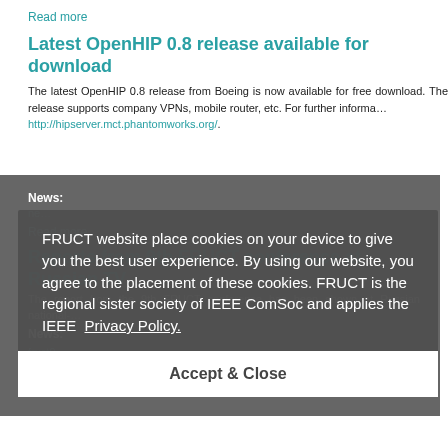Read more
Latest OpenHIP 0.8 release available for download
The latest OpenHIP 0.8 release from Boeing is now available for free download. The release supports company VPNs, mobile router, etc. For further information: http://hipserver.mct.phantomworks.org/.
News:
ne…
Read more
Reports from 9th FRUCT conference at Russian TV
The report from the 9th FRUCT conference has been shown at Russian national-…
News:
fruct9
news
Read more
FRUCT website place cookies on your device to give you the best user experience. By using our website, you agree to the placement of these cookies. FRUCT is the regional sister society of IEEE ComSoc and applies the IEEE Privacy Policy.
Accept & Close